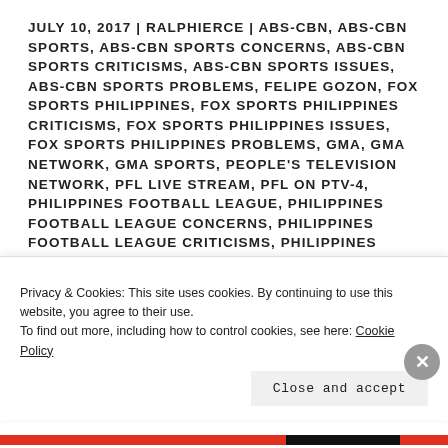JULY 10, 2017 | RALPHIERCE | ABS-CBN, ABS-CBN SPORTS, ABS-CBN SPORTS CONCERNS, ABS-CBN SPORTS CRITICISMS, ABS-CBN SPORTS ISSUES, ABS-CBN SPORTS PROBLEMS, FELIPE GOZON, FOX SPORTS PHILIPPINES, FOX SPORTS PHILIPPINES CRITICISMS, FOX SPORTS PHILIPPINES ISSUES, FOX SPORTS PHILIPPINES PROBLEMS, GMA, GMA NETWORK, GMA SPORTS, PEOPLE'S TELEVISION NETWORK, PFL LIVE STREAM, PFL ON PTV-4, PHILIPPINES FOOTBALL LEAGUE, PHILIPPINES FOOTBALL LEAGUE CONCERNS, PHILIPPINES FOOTBALL LEAGUE CRITICISMS, PHILIPPINES FOOTBALL LEAGUE
Privacy & Cookies: This site uses cookies. By continuing to use this website, you agree to their use. To find out more, including how to control cookies, see here: Cookie Policy
Close and accept